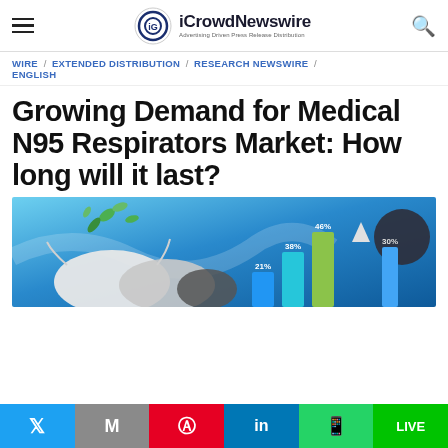iCrowdNewswire — Advertising Driven Press Release Distribution
WIRE / EXTENDED DISTRIBUTION / RESEARCH NEWSWIRE / ENGLISH
Growing Demand for Medical N95 Respirators Market: How long will it last?
[Figure (photo): N95 respirators/medical masks on a blue gradient background with green leaves, alongside a bar chart graphic showing percentages 21%, 38%, 46%, 30%]